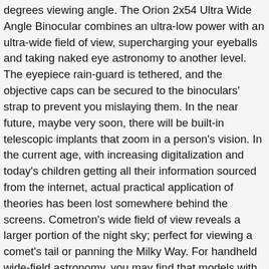degrees viewing angle. The Orion 2x54 Ultra Wide Angle Binocular combines an ultra-low power with an ultra-wide field of view, supercharging your eyeballs and taking naked eye astronomy to another level. The eyepiece rain-guard is tethered, and the objective caps can be secured to the binoculars' strap to prevent you mislaying them. In the near future, maybe very soon, there will be built-in telescopic implants that zoom in a person's vision. In the current age, with increasing digitalization and today's children getting all their information sourced from the internet, actual practical application of theories has been lost somewhere behind the screens. Cometron's wide field of view reveals a larger portion of the night sky; perfect for viewing a comet's tail or panning the Milky Way. For handheld wide-field astronomy, you may find that models with lower zoom (7x, 8x) perform better. SG-Z . Vanguard Endeavor ED 1042 Binocular offers you an excellent 340ft/1000 yards field of view which is perfect for this purpose. They are just as impressive under the stars, which snap to focus anywhere in the central 85 per cent of its 6.5° field of view, giving a bright, crisp, high-contrast image. They